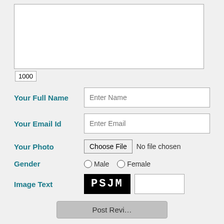[Figure (screenshot): A textarea form field (partially visible, showing white input box with resize handle)]
1000
Your Full Name
Enter Name
Your Email Id
Enter Email
Your Photo
Choose File  No file chosen
Gender
Male  Female
Image Text
[Figure (screenshot): CAPTCHA image showing text PSJM on black background, with empty text input next to it]
Post Review